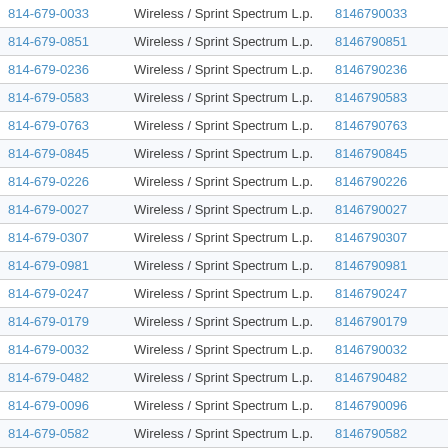| Phone | Carrier | Number | Action |
| --- | --- | --- | --- |
| 814-679-0033 | Wireless / Sprint Spectrum L.p. | 8146790033 | View |
| 814-679-0851 | Wireless / Sprint Spectrum L.p. | 8146790851 | View |
| 814-679-0236 | Wireless / Sprint Spectrum L.p. | 8146790236 | View |
| 814-679-0583 | Wireless / Sprint Spectrum L.p. | 8146790583 | View |
| 814-679-0763 | Wireless / Sprint Spectrum L.p. | 8146790763 | View |
| 814-679-0845 | Wireless / Sprint Spectrum L.p. | 8146790845 | View |
| 814-679-0226 | Wireless / Sprint Spectrum L.p. | 8146790226 | View |
| 814-679-0027 | Wireless / Sprint Spectrum L.p. | 8146790027 | View |
| 814-679-0307 | Wireless / Sprint Spectrum L.p. | 8146790307 | View |
| 814-679-0981 | Wireless / Sprint Spectrum L.p. | 8146790981 | View |
| 814-679-0247 | Wireless / Sprint Spectrum L.p. | 8146790247 | View |
| 814-679-0179 | Wireless / Sprint Spectrum L.p. | 8146790179 | View |
| 814-679-0032 | Wireless / Sprint Spectrum L.p. | 8146790032 | View |
| 814-679-0482 | Wireless / Sprint Spectrum L.p. | 8146790482 | View |
| 814-679-0096 | Wireless / Sprint Spectrum L.p. | 8146790096 | View |
| 814-679-0582 | Wireless / Sprint Spectrum L.p. | 8146790582 | View |
| 814-679-0602 | Wireless / Sprint Spectrum L.p. | 8146790602 | View |
| 814-679-0363 | Wireless / Sprint Spectrum L.p. | 8146790363 | View |